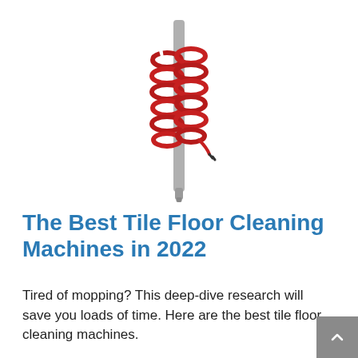[Figure (photo): A cleaning machine wand/handle with a red coiled cord wrapped around a silver metal pole, shown against a white background. The pole has a narrow tip at the bottom.]
The Best Tile Floor Cleaning Machines in 2022
Tired of mopping? This deep-dive research will save you loads of time. Here are the best tile floor cleaning machines.